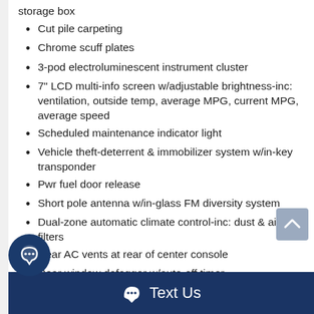storage box
Cut pile carpeting
Chrome scuff plates
3-pod electroluminescent instrument cluster
7" LCD multi-info screen w/adjustable brightness-inc: ventilation, outside temp, average MPG, current MPG, average speed
Scheduled maintenance indicator light
Vehicle theft-deterrent & immobilizer system w/in-key transponder
Pwr fuel door release
Short pole antenna w/in-glass FM diversity system
Dual-zone automatic climate control-inc: dust & air filters
Rear AC vents at rear of center console
Rear window defogger w/auto-off timer
Text Us